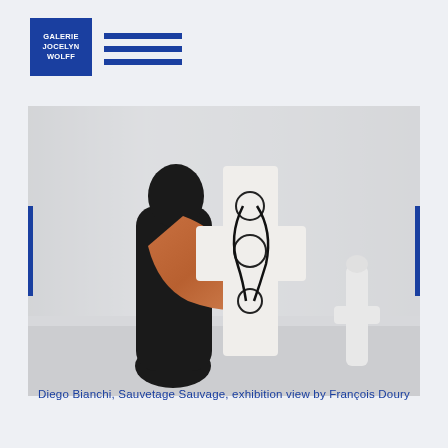[Figure (logo): Galerie Jocelyn Wolff logo - blue square with white text]
[Figure (photo): Exhibition view of Diego Bianchi, Sauvetage Sauvage. A figure in black bodysuit with an orange/brown fabric draped over the shoulder stands in front of white draped fabric backdrop. A cross-shaped white sculpture with dark ink drawings is visible in the center. Another white sculptural work appears in the background right.]
Diego Bianchi, Sauvetage Sauvage, exhibition view by François Doury